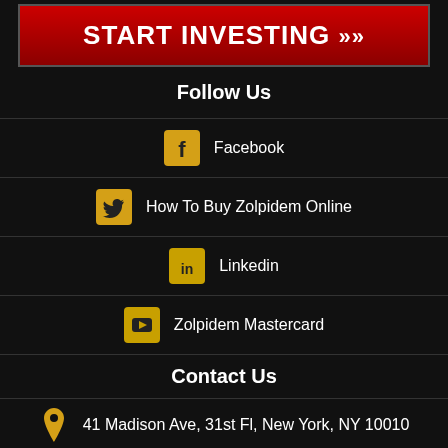[Figure (other): Red START INVESTING button with double chevron arrows]
Follow Us
Facebook
How To Buy Zolpidem Online
Linkedin
Zolpidem Mastercard
Contact Us
41 Madison Ave, 31st Fl, New York, NY 10010
1-855-460-5239